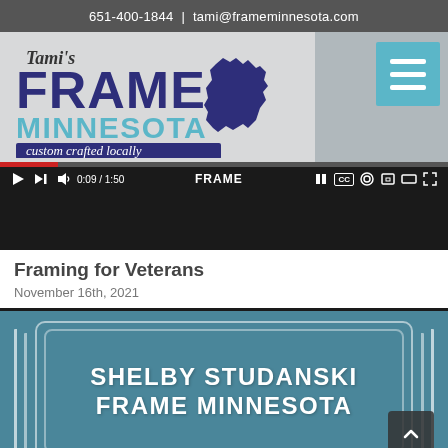651-400-1844  |  tami@frameminnesota.com
[Figure (screenshot): Tami's Frame Minnesota logo with Minnesota state silhouette, video player showing 0:09/1:50 with hamburger menu button]
Framing for Veterans
November 16th, 2021
[Figure (screenshot): Teal/blue background thumbnail with text 'SHELBY STUDANSKI FRAME MINNESOTA' in white bold uppercase letters with decorative border lines]